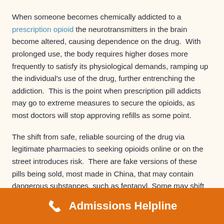When someone becomes chemically addicted to a prescription opioid the neurotransmitters in the brain become altered, causing dependence on the drug.  With prolonged use, the body requires higher doses more frequently to satisfy its physiological demands, ramping up the individual's use of the drug, further entrenching the addiction.  This is the point when prescription pill addicts may go to extreme measures to secure the opioids, as most doctors will stop approving refills as some point.
The shift from safe, reliable sourcing of the drug via legitimate pharmacies to seeking opioids online or on the street introduces risk.  There are fake versions of these pills being sold, most made in China, that may contain dangerous substances, such as fentanyl. Some may shift
Admissions Helpline